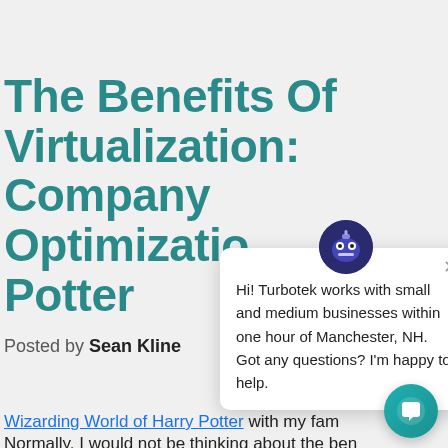The Benefits Of Virtualization: Company Optimization Potter
Posted by Sean Kline
[Figure (screenshot): Chat popup from Turbotek with robot avatar and close button. Text: Hi! Turbotek works with small and medium businesses within one hour of Manchester, NH. Got any questions? I'm happy to help.]
visiting The Wizarding World of Harry Potter with my fam... Normally, I would not be thinking about the benefits of...